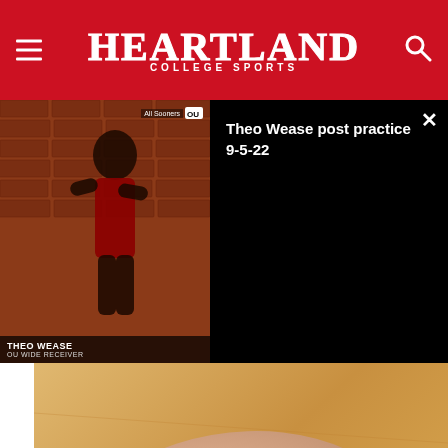Heartland College Sports
[Figure (screenshot): Video thumbnail showing Theo Wease, OU Wide Receiver, with on-screen text overlay. Adjacent black panel with video title 'Theo Wease post practice 9-5-22' and a close button.]
[Figure (photo): Close-up photograph of an injured foot/ankle showing bruising and discoloration, resting on a wooden floor surface.]